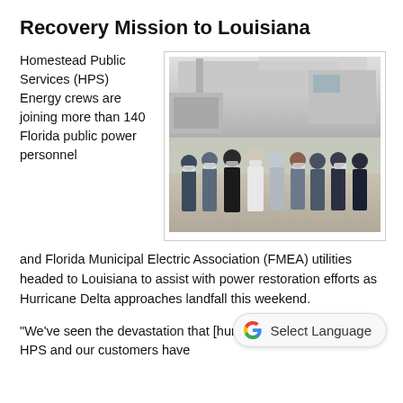Recovery Mission to Louisiana
Homestead Public Services (HPS) Energy crews are joining more than 140 Florida public power personnel and Florida Municipal Electric Association (FMEA) utilities headed to Louisiana to assist with power restoration efforts as Hurricane Delta approaches landfall this weekend.
[Figure (photo): Group of utility workers in masks standing in front of large white utility truck/equipment in a parking area]
“We’ve seen the devastation that [hurricanes] can bring and HPS and our customers have